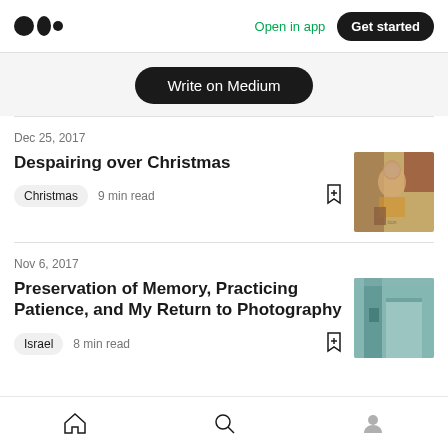Medium logo | Open in app | Get started
Write on Medium
Dec 25, 2017
Despairing over Christmas
Christmas  9 min read
[Figure (photo): Thumbnail image of a painting of a woman, Byzantine style icon]
Nov 6, 2017
Preservation of Memory, Practicing Patience, and My Return to Photography
Israel  8 min read
[Figure (photo): Thumbnail photo of a teal/mint colored interior wall or door]